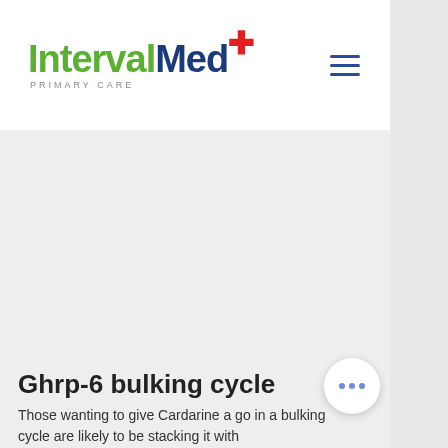[Figure (logo): IntervalMed Primary Care logo with green 'Interval', dark blue 'Med' text, and red cross symbol]
[Figure (other): Hamburger menu icon (three horizontal dark blue lines)]
[Figure (other): Large light gray placeholder image area filling the main content region]
Ghrp-6 bulking cycle
Those wanting to give Cardarine a go in a bulking cycle are likely to be stacking it with